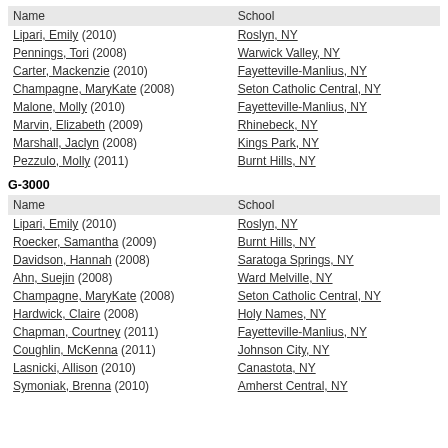| Name | School |
| --- | --- |
| Lipari, Emily (2010) | Roslyn, NY |
| Pennings, Tori (2008) | Warwick Valley, NY |
| Carter, Mackenzie (2010) | Fayetteville-Manlius, NY |
| Champagne, MaryKate (2008) | Seton Catholic Central, NY |
| Malone, Molly (2010) | Fayetteville-Manlius, NY |
| Marvin, Elizabeth (2009) | Rhinebeck, NY |
| Marshall, Jaclyn (2008) | Kings Park, NY |
| Pezzulo, Molly (2011) | Burnt Hills, NY |
G-3000
| Name | School |
| --- | --- |
| Lipari, Emily (2010) | Roslyn, NY |
| Roecker, Samantha (2009) | Burnt Hills, NY |
| Davidson, Hannah (2008) | Saratoga Springs, NY |
| Ahn, Suejin (2008) | Ward Melville, NY |
| Champagne, MaryKate (2008) | Seton Catholic Central, NY |
| Hardwick, Claire (2008) | Holy Names, NY |
| Chapman, Courtney (2011) | Fayetteville-Manlius, NY |
| Coughlin, McKenna (2011) | Johnson City, NY |
| Lasnicki, Allison (2010) | Canastota, NY |
| Symoniak, Brenna (2010) | Amherst Central, NY |